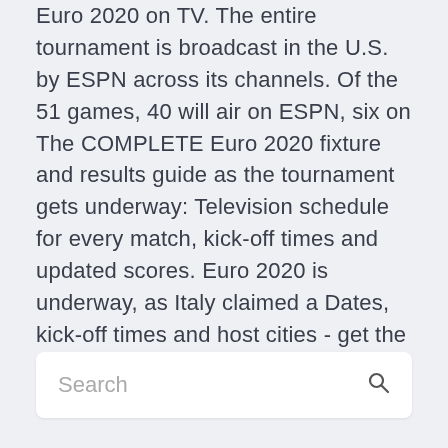Euro 2020 on TV. The entire tournament is broadcast in the U.S. by ESPN across its channels. Of the 51 games, 40 will air on ESPN, six on The COMPLETE Euro 2020 fixture and results guide as the tournament gets underway: Television schedule for every match, kick-off times and updated scores. Euro 2020 is underway, as Italy claimed a Dates, kick-off times and host cities - get the full schedule for Euro 2020.
Search